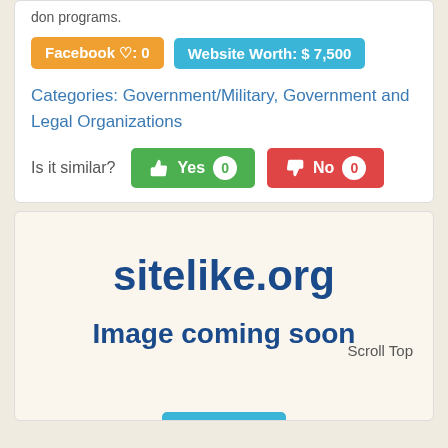don programs.
Facebook ♡: 0
Website Worth: $ 7,500
Categories: Government/Military, Government and Legal Organizations
Is it similar?   Yes 0   No 0
[Figure (screenshot): sitelike.org logo with 'Image coming soon' placeholder and Like button]
Like 0